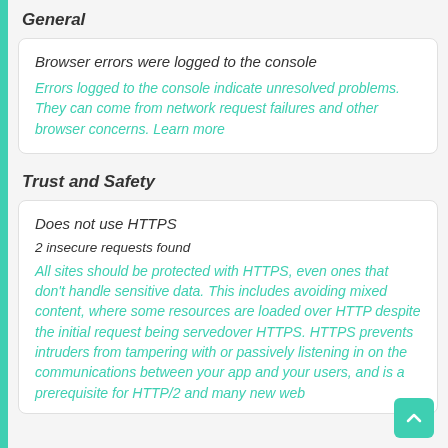General
Browser errors were logged to the console
Errors logged to the console indicate unresolved problems. They can come from network request failures and other browser concerns. Learn more
Trust and Safety
Does not use HTTPS
2 insecure requests found
All sites should be protected with HTTPS, even ones that don't handle sensitive data. This includes avoiding mixed content, where some resources are loaded over HTTP despite the initial request being servedover HTTPS. HTTPS prevents intruders from tampering with or passively listening in on the communications between your app and your users, and is a prerequisite for HTTP/2 and many new web